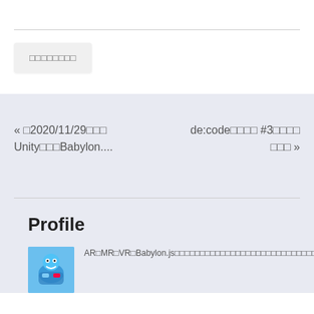□□□□□□□□
« □2020/11/29□□□ Unity□□□Babylon....
de:code□□□□ #3□□□□ □□□ »
Profile
AR□MR□VR□Babylon.js□□□□□□□□□□□□□□□□□□□□□□□□□□□□□□□□□□□□□□□□□□□□□□□□□□□□□□□□□□□□□□□□□□□□□□□□□